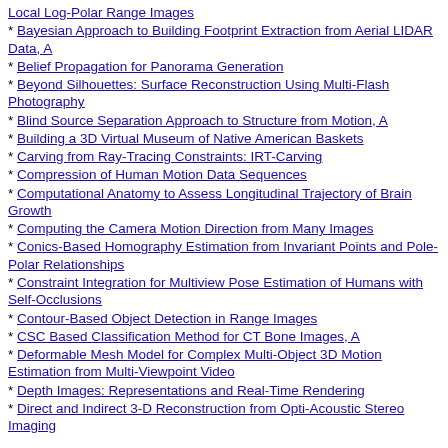Local Log-Polar Range Images
* Bayesian Approach to Building Footprint Extraction from Aerial LIDAR Data, A
* Belief Propagation for Panorama Generation
* Beyond Silhouettes: Surface Reconstruction Using Multi-Flash Photography
* Blind Source Separation Approach to Structure from Motion, A
* Building a 3D Virtual Museum of Native American Baskets
* Carving from Ray-Tracing Constraints: IRT-Carving
* Compression of Human Motion Data Sequences
* Computational Anatomy to Assess Longitudinal Trajectory of Brain Growth
* Computing the Camera Motion Direction from Many Images
* Conics-Based Homography Estimation from Invariant Points and Pole-Polar Relationships
* Constraint Integration for Multiview Pose Estimation of Humans with Self-Occlusions
* Contour-Based Object Detection in Range Images
* CSC Based Classification Method for CT Bone Images, A
* Deformable Mesh Model for Complex Multi-Object 3D Motion Estimation from Multi-Viewpoint Video
* Depth Images: Representations and Real-Time Rendering
* Direct and Indirect 3-D Reconstruction from Opti-Acoustic Stereo Imaging